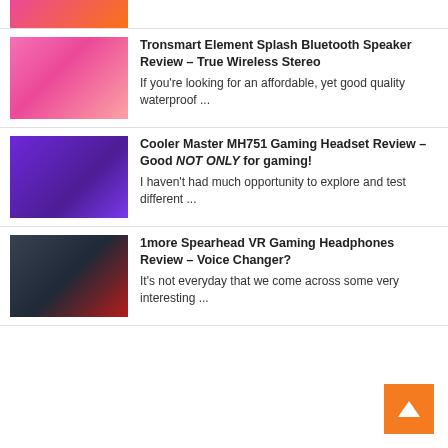[Figure (photo): Partial view of a product image at top of page (cropped)]
Tronsmart Element Splash Bluetooth Speaker Review – True Wireless Stereo
If you're looking for an affordable, yet good quality waterproof ...
Cooler Master MH751 Gaming Headset Review – Good NOT ONLY for gaming!
I haven't had much opportunity to explore and test different ...
1more Spearhead VR Gaming Headphones Review – Voice Changer?
It's not everyday that we come across some very interesting ...